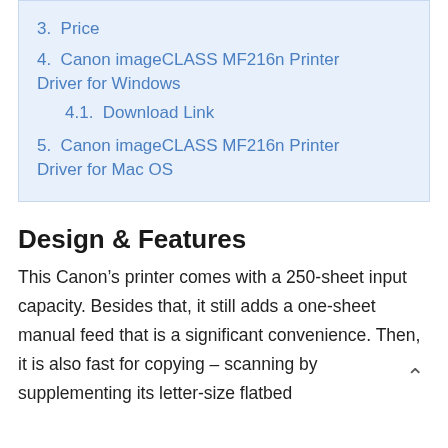3.  Price
4.  Canon imageCLASS MF216n Printer Driver for Windows
4.1.  Download Link
5.  Canon imageCLASS MF216n Printer Driver for Mac OS
Design & Features
This Canon’s printer comes with a 250-sheet input capacity. Besides that, it still adds a one-sheet manual feed that is a significant convenience. Then, it is also fast for copying – scanning by supplementing its letter-size flatbed